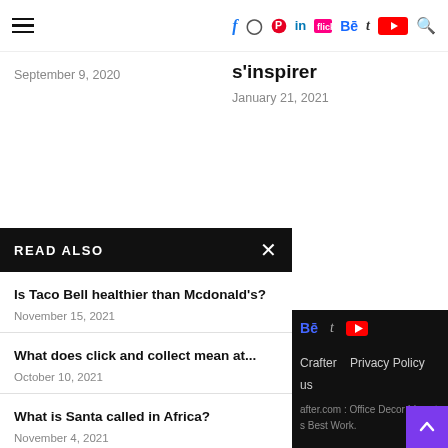hamburger menu | f instagram pinterest in flickr Be t youtube search
September 9, 2020
s'inspirer
January 21, 2021
READ ALSO
Is Taco Bell healthier than Mcdonald's?
November 15, 2021
What does click and collect mean at...
October 10, 2021
What is Santa called in Africa?
November 4, 2021
Be t YouTube
Crafter   Privacy Policy
us
after.com : Office Decor Ideas to
s Best Work.